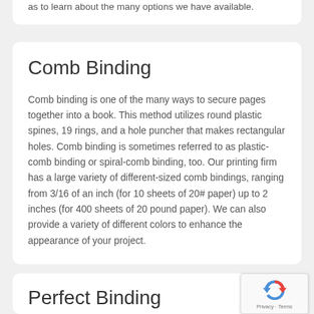as to learn about the many options we have available.
Comb Binding
Comb binding is one of the many ways to secure pages together into a book. This method utilizes round plastic spines, 19 rings, and a hole puncher that makes rectangular holes. Comb binding is sometimes referred to as plastic-comb binding or spiral-comb binding, too. Our printing firm has a large variety of different-sized comb bindings, ranging from 3/16 of an inch (for 10 sheets of 20# paper) up to 2 inches (for 400 sheets of 20 pound paper). We can also provide a variety of different colors to enhance the appearance of your project.
Perfect Binding